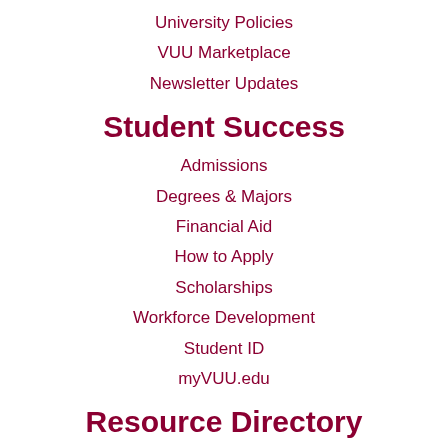University Policies
VUU Marketplace
Newsletter Updates
Student Success
Admissions
Degrees & Majors
Financial Aid
How to Apply
Scholarships
Workforce Development
Student ID
myVUU.edu
Resource Directory
Unionite Express
Give Us Your Feedback
Student Complaint Form